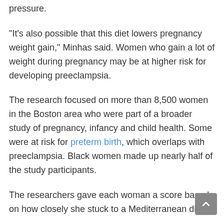pressure.
"It's also possible that this diet lowers pregnancy weight gain," Minhas said. Women who gain a lot of weight during pregnancy may be at higher risk for developing preeclampsia.
The research focused on more than 8,500 women in the Boston area who were part of a broader study of pregnancy, infancy and child health. Some were at risk for preterm birth, which overlaps with preeclampsia. Black women made up nearly half of the study participants.
The researchers gave each woman a score based on how closely she stuck to a Mediterranean diet.
In all, 10% developed preeclampsia. But the study found that the risk was 22% lower among women who more closely followed a Mediterranean-style diet during pregnancy, and this reduction in risk was even greater among Black women who did so. Black women can at